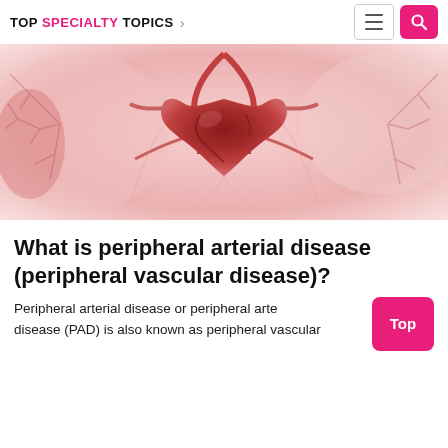TOP SPECIALTY TOPICS >
[Figure (illustration): Medical illustration of a human heart with arteries and vessels on a pink/white background, showing cardiovascular anatomy.]
What is peripheral arterial disease (peripheral vascular disease)?
Peripheral arterial disease or peripheral arte... disease (PAD) is also known as peripheral vascular